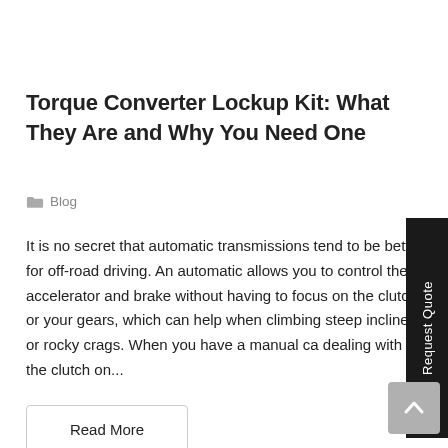Torque Converter Lockup Kit: What They Are and Why You Need One
Blog
It is no secret that automatic transmissions tend to be better for off-road driving. An automatic allows you to control the accelerator and brake without having to focus on the clutch or your gears, which can help when climbing steep inclines or rocky crags. When you have a manual ca dealing with the clutch on...
Read More